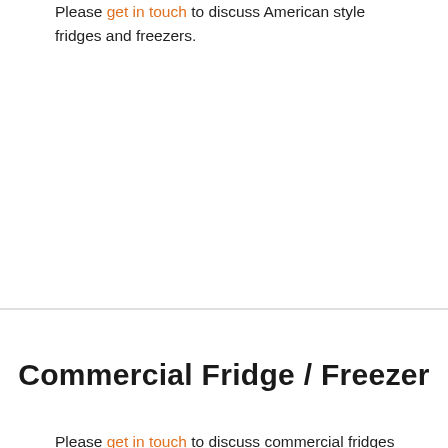Please get in touch to discuss American style fridges and freezers.
Commercial Fridge / Freezer
Please get in touch to discuss commercial fridges and freezers.